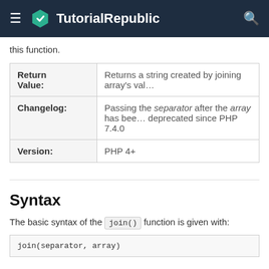TutorialRepublic
this function.
| Return Value: | Returns a string created by joining array's val… |
| Changelog: | Passing the separator after the array has been deprecated since PHP 7.4.0 |
| Version: | PHP 4+ |
Syntax
The basic syntax of the join() function is given with: